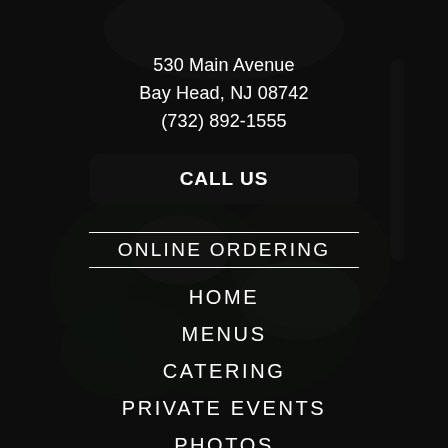[Figure (photo): Dark background with a blurred food photo — salad with greens, avocado, cheese, and nuts on a dark plate, heavily overlaid with a dark translucent mask.]
530 Main Avenue
Bay Head, NJ 08742
(732) 892-1555
CALL US
ONLINE ORDERING
HOME
MENUS
CATERING
PRIVATE EVENTS
PHOTOS